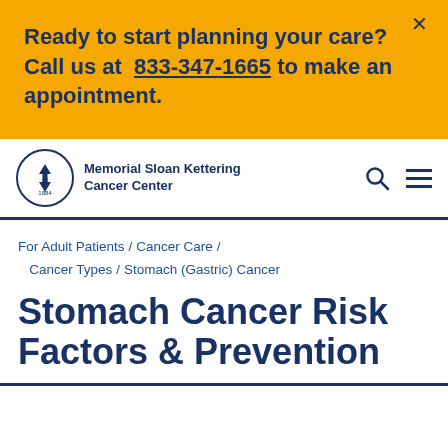Ready to start planning your care? Call us at 833-347-1665 to make an appointment.
Memorial Sloan Kettering Cancer Center
For Adult Patients / Cancer Care / Cancer Types / Stomach (Gastric) Cancer
Stomach Cancer Risk Factors & Prevention